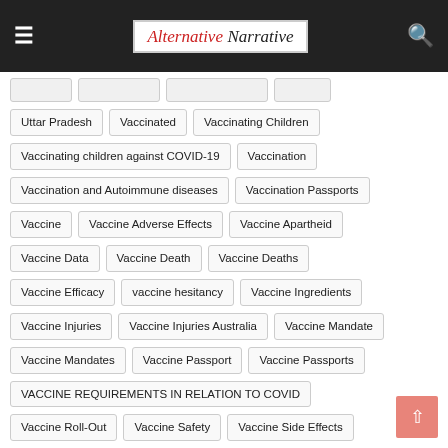Alternative Narrative
Uttar Pradesh
Vaccinated
Vaccinating Children
Vaccinating children against COVID-19
Vaccination
Vaccination and Autoimmune diseases
Vaccination Passports
Vaccine
Vaccine Adverse Effects
Vaccine Apartheid
Vaccine Data
Vaccine Death
Vaccine Deaths
Vaccine Efficacy
vaccine hesitancy
Vaccine Ingredients
Vaccine Injuries
Vaccine Injuries Australia
Vaccine Mandate
Vaccine Mandates
Vaccine Passport
Vaccine Passports
VACCINE REQUIREMENTS IN RELATION TO COVID
Vaccine Roll-Out
Vaccine Safety
Vaccine Side Effects
Vaccine Technologies
Vaccine-induced Thrombocytopenic Thrombosis
Vaccine-induced Thrombotic Thrombocytopenia